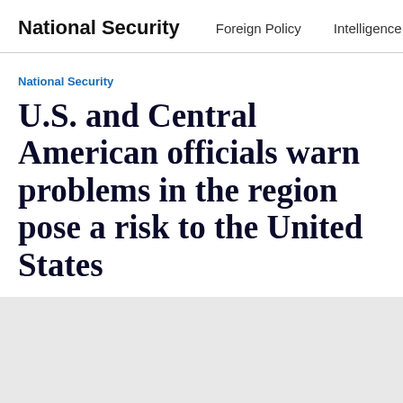National Security   Foreign Policy   Intelligence
National Security
U.S. and Central American officials warn problems in the region pose a risk to the United States